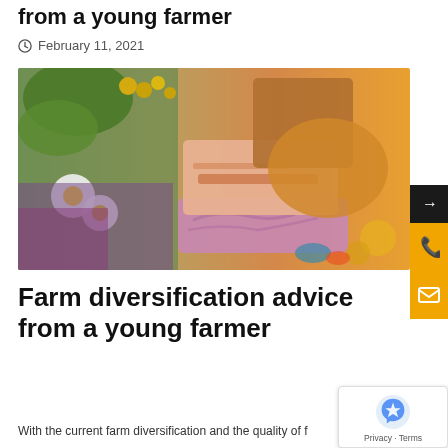from a young farmer
February 11, 2021
[Figure (photo): Colorful handmade soaps and wildflowers arranged together, showing bars of soap in pink, lavender, and orange swirled colors alongside daisy, purple and yellow flowers on a wooden surface.]
Farm diversification advice from a young farmer
With the current farm diversification and the quality of f...